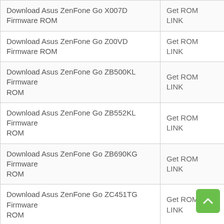|  |  |
| --- | --- |
| Download Asus ZenFone Go X007D Firmware ROM | Get ROM LINK |
| Download Asus ZenFone Go Z00VD Firmware ROM | Get ROM LINK |
| Download Asus ZenFone Go ZB500KL Firmware ROM | Get ROM LINK |
| Download Asus ZenFone Go ZB552KL Firmware ROM | Get ROM LINK |
| Download Asus ZenFone Go ZB690KG Firmware ROM | Get ROM LINK |
| Download Asus ZenFone Go ZC451TG Firmware ROM | Get ROM LINK |
| Download Asus ZenFone Go ZC500TG Firmware ROM | Get ROM LINK |
| Download Asus ZenFone Laser ZE550KG Firmware ROM | Get ROM LINK |
| Download Asus ZenFone Lite L1 ZA551KL Firmware... | Get ROM... |